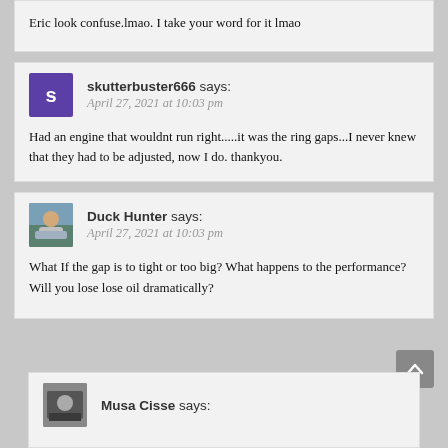Eric look confuse.lmao. I take your word for it lmao
skutterbuster666 says:
April 27, 2021 at 10:03 pm
Had an engine that wouldnt run right.....it was the ring gaps...I never knew that they had to be adjusted, now I do. thankyou.
Duck Hunter says:
April 27, 2021 at 10:03 pm
What If the gap is to tight or too big? What happens to the performance? Will you lose lose oil dramatically?
Musa Cisse says: